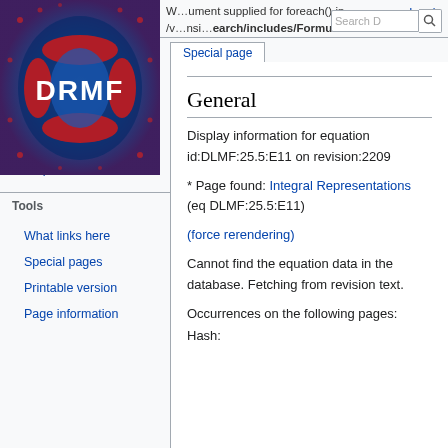[Figure (logo): DRMF logo — a psychedelic blue/red/black circular optical illusion pattern with white DRMF text]
W...ument supplied for foreach() in /v...nsi...earch/includes/FormulaInf
Log in | Special page | Search D
Main page
Recent changes
Random page
Help about MediaWiki
Tools
What links here
Special pages
Printable version
Page information
General
Display information for equation id:DLMF:25.5:E11 on revision:2209
* Page found: Integral Representations (eq DLMF:25.5:E11)
(force rerendering)
Cannot find the equation data in the database. Fetching from revision text.
Occurrences on the following pages:
Hash: